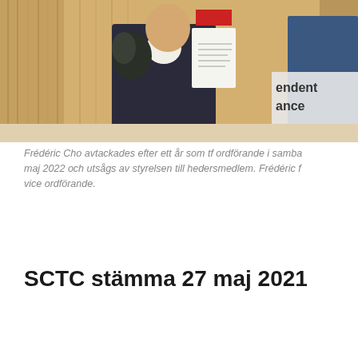[Figure (photo): A person in a dark suit holding a bouquet of flowers and a certificate/document, standing in front of a wooden panel wall and a banner reading 'endent ance' (partially visible). Another person in a blue jacket is partially visible on the right.]
Frédéric Cho avtackades efter ett år som tf ordförande i samba maj 2022 och utsågs av styrelsen till hedersmedlem. Frédéric f vice ordförande.
SCTC stämma 27 maj 2021